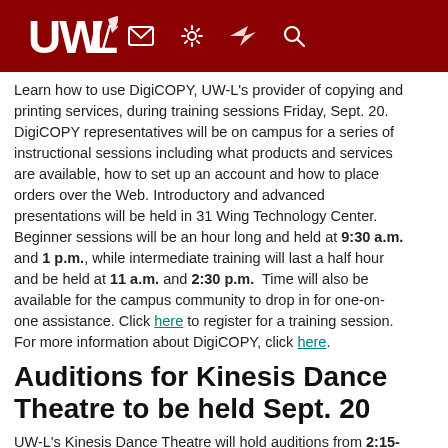UWL [logo with bird icon] [navigation icons: mail, settings, bird/arrow, search]
Learn how to use DigiCOPY, UW-L's provider of copying and printing services, during training sessions Friday, Sept. 20. DigiCOPY representatives will be on campus for a series of instructional sessions including what products and services are available, how to set up an account and how to place orders over the Web. Introductory and advanced presentations will be held in 31 Wing Technology Center. Beginner sessions will be an hour long and held at 9:30 a.m. and 1 p.m., while intermediate training will last a half hour and be held at 11 a.m. and 2:30 p.m.  Time will also be available for the campus community to drop in for one-on-one assistance. Click here to register for a training session. For more information about DigiCOPY, click here.
Auditions for Kinesis Dance Theatre to be held Sept. 20
UW-L's Kinesis Dance Theatre will hold auditions from 2:15-3:10 p.m. Friday, Sept. 20, in the 103A Mitchell Hall Dance Studio. Artistic Director Kathy Gorman will teach a modern